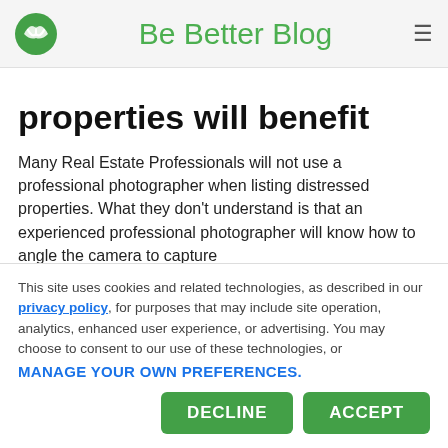Be Better Blog
properties will benefit
Many Real Estate Professionals will not use a professional photographer when listing distressed properties. What they don't understand is that an experienced professional photographer will know how to angle the camera to capture
This site uses cookies and related technologies, as described in our privacy policy, for purposes that may include site operation, analytics, enhanced user experience, or advertising. You may choose to consent to our use of these technologies, or MANAGE YOUR OWN PREFERENCES.